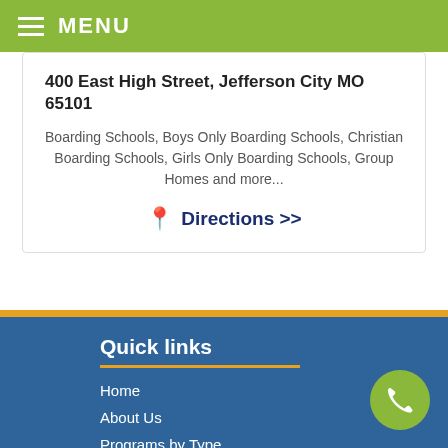MENU
400 East High Street, Jefferson City MO 65101
Boarding Schools, Boys Only Boarding Schools, Christian Boarding Schools, Girls Only Boarding Schools, Group Homes and more...
Directions >>
Quick links
Home
About Us
Programs by Type
Therapeutic Programs
FREE HELP